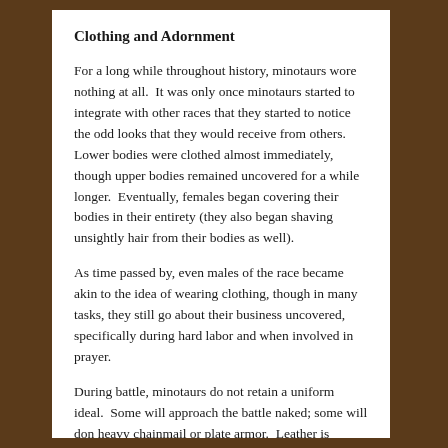Clothing and Adornment
For a long while throughout history, minotaurs wore nothing at all.  It was only once minotaurs started to integrate with other races that they started to notice the odd looks that they would receive from others.  Lower bodies were clothed almost immediately, though upper bodies remained uncovered for a while longer.  Eventually, females began covering their bodies in their entirety (they also began shaving unsightly hair from their bodies as well).
As time passed by, even males of the race became akin to the idea of wearing clothing, though in many tasks, they still go about their business uncovered, specifically during hard labor and when involved in prayer.
During battle, minotaurs do not retain a uniform ideal.  Some will approach the battle naked; some will don heavy chainmail or plate armor.  Leather is almost never an acceptable means of protection, or so it is said.